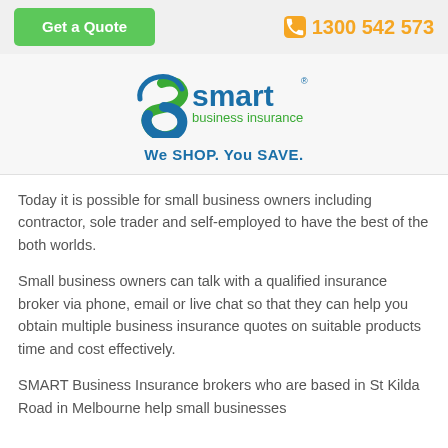[Figure (other): Green 'Get a Quote' button on the left and orange phone number '1300 542 573' on the right in a light grey header bar]
[Figure (logo): Smart Business Insurance logo with stylized S shape in green and blue, text 'smart business insurance' and tagline 'We SHOP. You SAVE.']
Today it is possible for small business owners including contractor, sole trader and self-employed to have the best of the both worlds.
Small business owners can talk with a qualified insurance broker via phone, email or live chat so that they can help you obtain multiple business insurance quotes on suitable products time and cost effectively.
SMART Business Insurance brokers who are based in St Kilda Road in Melbourne help small businesses